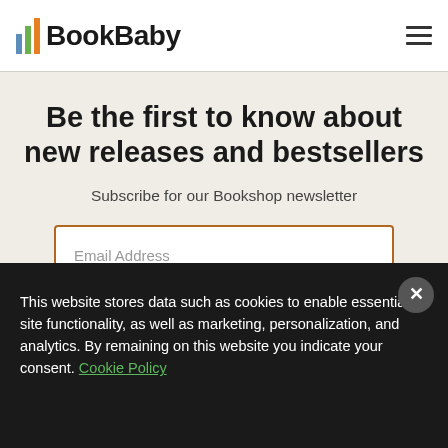BookBaby
Be the first to know about new releases and bestsellers
Subscribe for our Bookshop newsletter
Email Address
Sign me up!
This website stores data such as cookies to enable essential site functionality, as well as marketing, personalization, and analytics. By remaining on this website you indicate your consent. Cookie Policy